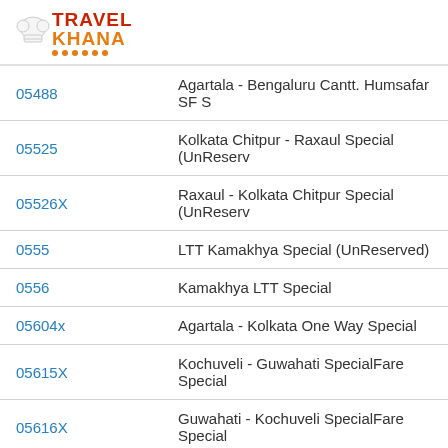[Figure (logo): TravelKhana logo with chef hat icon, red 'TRAVEL' text, orange 'KHANA' text, orange dots underline]
| Train Number | Train Name |
| --- | --- |
| 05488 | Agartala - Bengaluru Cantt. Humsafar SF S |
| 05525 | Kolkata Chitpur - Raxaul Special (UnReserv |
| 05526X | Raxaul - Kolkata Chitpur Special (UnReserv |
| 0555 | LTT Kamakhya Special (UnReserved) |
| 0556 | Kamakhya LTT Special |
| 05604x | Agartala - Kolkata One Way Special |
| 05615X | Kochuveli - Guwahati SpecialFare Special |
| 05616X | Guwahati - Kochuveli SpecialFare Special |
| 05657X | Sealdah - Guwahati One way SF Special |
| 05658 | Guwahati - Sealdah Special (One Way) |